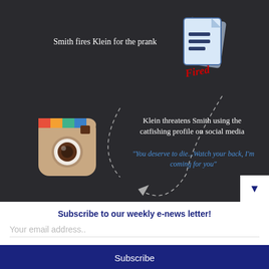[Figure (infographic): Dark background infographic showing a flowchart sequence: 'Smith fires Klein for the prank' with a document icon labeled 'Fired' (in red), connected by dashed arrows to an Instagram camera icon, and then text 'Klein threatens Smith using the catfishing profile on social media' with a quote 'You deserve to die...Watch your back, I'm coming for you']
Subscribe to our weekly e-news letter!
Your email address..
Subscribe